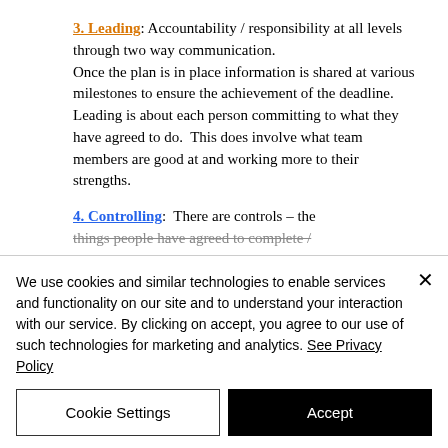3. Leading: Accountability / responsibility at all levels through two way communication. Once the plan is in place information is shared at various milestones to ensure the achievement of the deadline. Leading is about each person committing to what they have agreed to do.  This does involve what team members are good at and working more to their strengths.
4. Controlling:  There are controls – the things people have agreed to complete /
We use cookies and similar technologies to enable services and functionality on our site and to understand your interaction with our service. By clicking on accept, you agree to our use of such technologies for marketing and analytics. See Privacy Policy